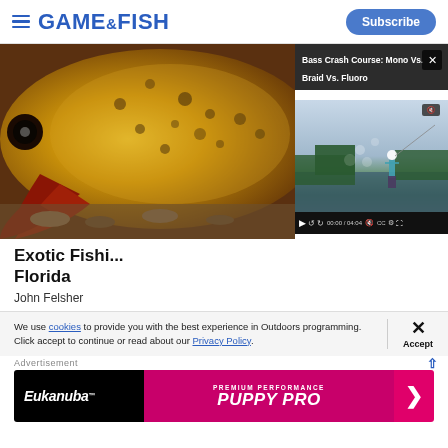GAME&FISH — Subscribe
[Figure (photo): Close-up photo of a brightly colored fish (golden/yellow with spots) partially visible, with a video overlay showing 'Bass Crash Course: Mono Vs. Braid Vs. Fluoro' — a person fishing by a river, with video controls showing 00:00 / 04:04]
Exotic Fishi... Florida
John Felsher
We use cookies to provide you with the best experience in Outdoors programming. Click accept to continue or read about our Privacy Policy.
Advertisement
[Figure (infographic): Eukanuba PREMIUM PERFORMANCE PUPPY PRO advertisement banner — black and magenta/pink colors with arrow icon]